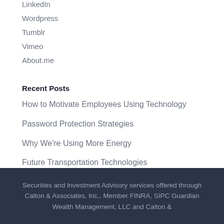Linkedin
Wordpress
Tumblr
Vimeo
About.me
Recent Posts
How to Motivate Employees Using Technology
Password Protection Strategies
Why We're Using More Energy
Future Transportation Technologies
Augmented Reality In Everyday Life
Securities and Investment Advisory services offered through Calton & Associates, Inc., Member FINRA, SIPC Guardian Wealth Management, LLC and Calton &